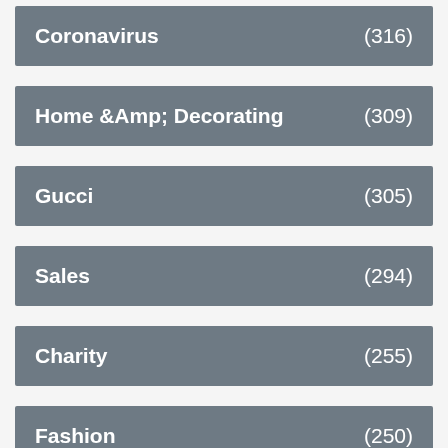Coronavirus (316)
Home &Amp; Decorating (309)
Gucci (305)
Sales (294)
Charity (255)
Fashion (250)
Valentino (233)
Victoria&#X27;S Secret (230)